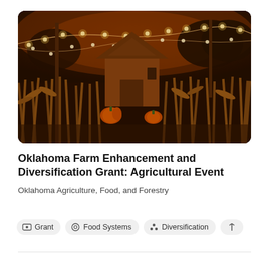[Figure (photo): Night-time photo of a farm scene with a wooden shed surrounded by corn stalks and pumpkins, with string lights illuminating the scene in warm orange tones.]
Oklahoma Farm Enhancement and Diversification Grant: Agricultural Event
Oklahoma Agriculture, Food, and Forestry
Grant
Food Systems
Diversification